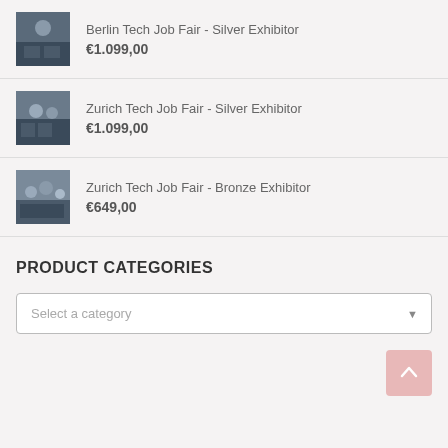Berlin Tech Job Fair - Silver Exhibitor €1.099,00
Zurich Tech Job Fair - Silver Exhibitor €1.099,00
Zurich Tech Job Fair - Bronze Exhibitor €649,00
PRODUCT CATEGORIES
Select a category